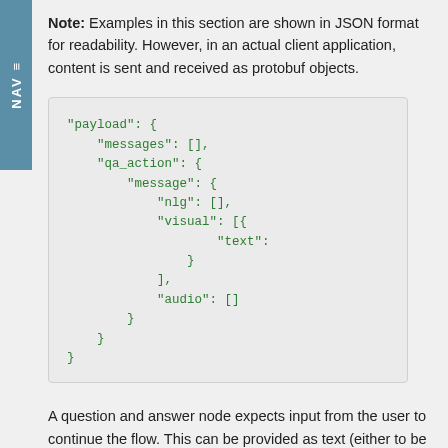Note: Examples in this section are shown in JSON format for readability. However, in an actual client application, content is sent and received as protobuf objects.
[Figure (other): Code block showing JSON payload structure with messages, qa_action, message, nlg, visual, text, audio fields]
A question and answer node expects input from the user to continue the flow. This can be provided as text (either to be